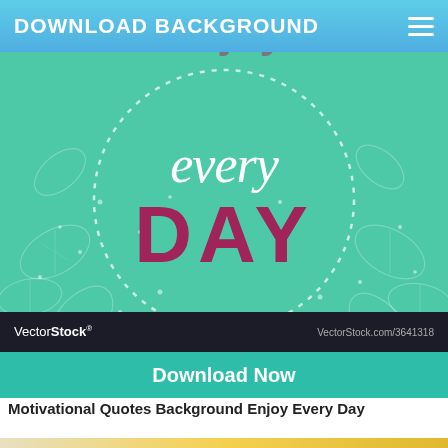DOWNLOAD BACKGROUND
[Figure (illustration): Motivational quote background graphic on mint/teal color with white leaf outlines, white dotted circle border, white cursive text 'every' and pink/maroon large text 'DAY', with VectorStock watermark bar below.]
Download Now
Motivational Quotes Background Enjoy Every Day